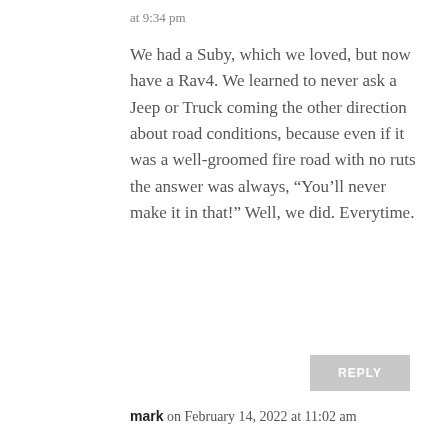at 9:34 pm
We had a Suby, which we loved, but now have a Rav4. We learned to never ask a Jeep or Truck coming the other direction about road conditions, because even if it was a well-groomed fire road with no ruts the answer was always, “You’ll never make it in that!” Well, we did. Everytime.
REPLY
mark on February 14, 2022 at 11:02 am